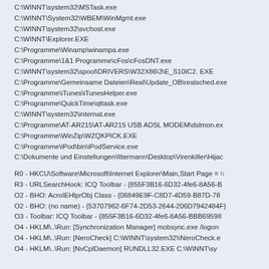C:\WINNT\system32\MSTask.exe
C:\WINNT\System32\WBEM\WinMgmt.exe
C:\WINNT\system32\svchost.exe
C:\WINNT\Explorer.EXE
C:\Programme\Winamp\winampa.exe
C:\Programme\1&1 Programme\cFos\cFosDNT.exe
C:\WINNT\system32\spool\DRIVERS\W32X86\3\E_S10IC2. EXE
C:\Programme\Gemeinsame Dateien\Real\Update_OB\realsched.exe
C:\Programme\iTunes\iTunesHelper.exe
C:\Programme\QuickTime\qttask.exe
C:\WINNT\system32\internat.exe
C:\Programme\AT-AR215\AT-AR215 USB ADSL MODEM\dslmon.ex
C:\Programme\WinZip\WZQKPICK.EXE
C:\Programme\iPod\bin\iPodService.exe
C:\Dokumente und Einstellungen\Ittermann\Desktop\Virenkiller\Hijac
R0 - HKCU\Software\Microsoft\Internet Explorer\Main,Start Page = h
R3 - URLSearchHook: ICQ Toolbar - {855F3B16-6D32-4fe6-8A56-B
O2 - BHO: AcroIEHlprObj Class - {06849E9F-C8D7-4D59-B87D-78
O2 - BHO: (no name) - {53707962-6F74-2D53-2644-206D7942484F}
O3 - Toolbar: ICQ Toolbar - {855F3B16-6D32-4fe6-8A56-BBB69598
O4 - HKLM\..\Run: [Synchronization Manager] mobsync.exe /logon
O4 - HKLM\..\Run: [NeroCheck] C:\WINNT\system32\\NeroCheck.e
O4 - HKLM\..\Run: [NvCplDaemon] RUNDLL32.EXE C:\WINNT\sy